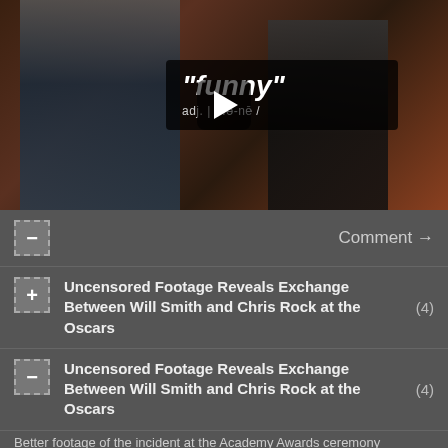[Figure (screenshot): Video thumbnail showing two men on a TV show set. Left man in suit holding a pointer stick. Right man in tuxedo. Screen behind shows the word "funny" with dictionary definition. Play button overlay in center.]
Comment →
Uncensored Footage Reveals Exchange Between Will Smith and Chris Rock at the Oscars (4)
Uncensored Footage Reveals Exchange Between Will Smith and Chris Rock at the Oscars (4)
Better footage of the incident at the Academy Awards ceremony
Continue...